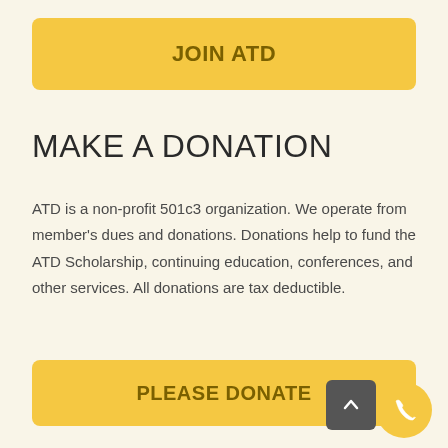JOIN ATD
MAKE A DONATION
ATD is a non-profit 501c3 organization. We operate from member's dues and donations. Donations help to fund the ATD Scholarship, continuing education, conferences, and other services. All donations are tax deductible.
PLEASE DONATE